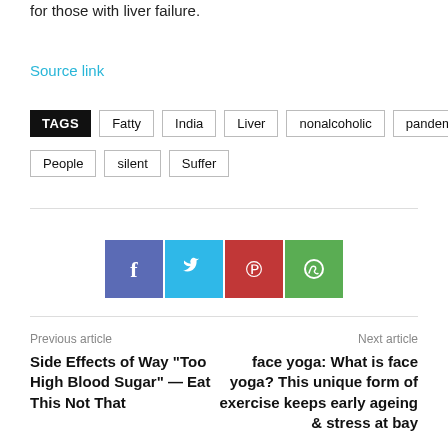for those with liver failure.
Source link
TAGS  Fatty  India  Liver  nonalcoholic  pandemic  People  silent  Suffer
[Figure (infographic): Social media share buttons: Facebook (blue-purple), Twitter (light blue), Pinterest (red), WhatsApp (green)]
Previous article
Side Effects of Way “Too High Blood Sugar” — Eat This Not That
Next article
face yoga: What is face yoga? This unique form of exercise keeps early ageing & stress at bay